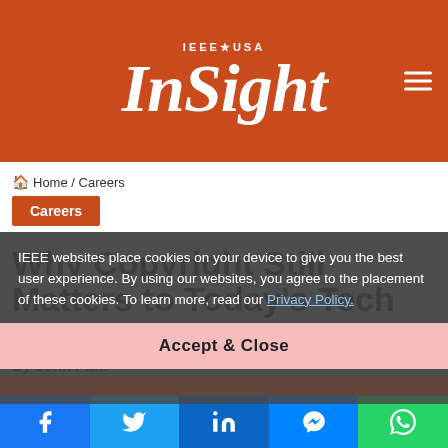IEEE USA InSight
Home / Careers
Careers
Why Copyright Still Matters to Today's Tech Pros
By John Platt
1 August 2014  0  47  5 minutes read
IEEE websites place cookies on your device to give you the best user experience. By using our websites, you agree to the placement of these cookies. To learn more, read our Privacy Policy.
Accept & Close